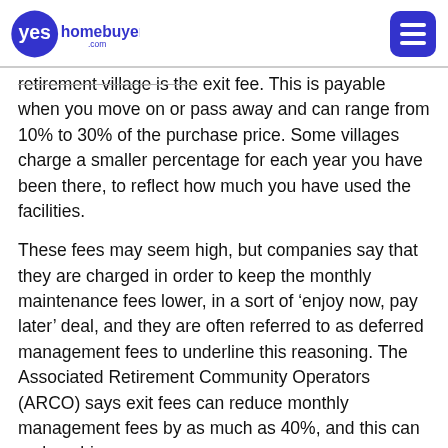YesHomeBuyers.com [logo and hamburger menu]
retirement village is the exit fee. This is payable when you move on or pass away and can range from 10% to 30% of the purchase price. Some villages charge a smaller percentage for each year you have been there, to reflect how much you have used the facilities.
These fees may seem high, but companies say that they are charged in order to keep the monthly maintenance fees lower, in a sort of ‘enjoy now, pay later’ deal, and they are often referred to as deferred management fees to underline this reasoning. The Associated Retirement Community Operators (ARCO) says exit fees can reduce monthly management fees by as much as 40%, and this can make a big